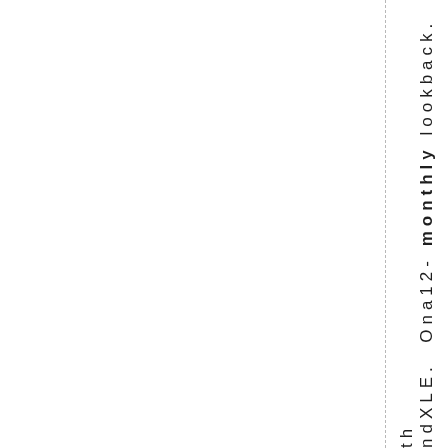ndXLE. Ona12- monthly lookback. th